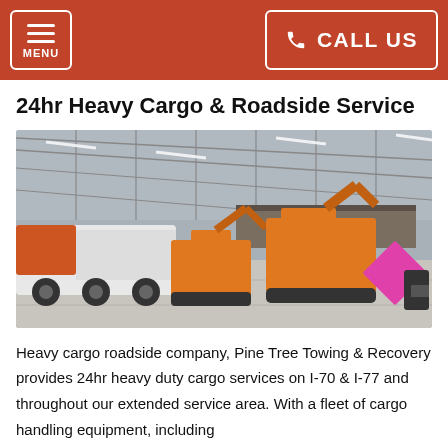MENU | CALL US
24hr Heavy Cargo & Roadside Service
[Figure (photo): Interior of a large warehouse/garage showing a row of heavy equipment including a white and orange semi truck/tow truck on the left, followed by orange excavators and construction machinery, and a pink diamond-shaped hazard sign on the right. The building has a high steel truss roof with fluorescent lighting.]
Heavy cargo roadside company, Pine Tree Towing & Recovery provides 24hr heavy duty cargo services on I-70 & I-77 and throughout our extended service area. With a fleet of cargo handling equipment, including